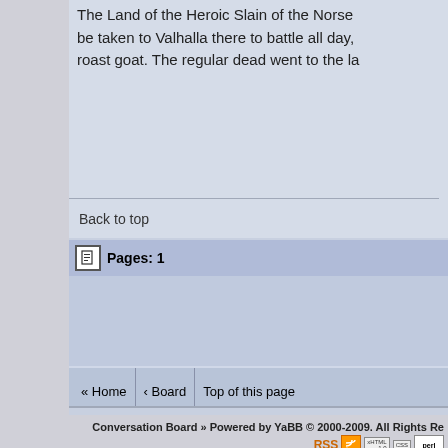The Land of the Heroic Slain of the Norse... be taken to Valhalla there to battle all day, roast goat. The regular dead went to the la...
Back to top
Pages: 1
« Home  ‹ Board  Top of this page
This is a Peer Moderated Forum. You can report P...
Fill Out and Submit Posting Guideline...
Conversation Board » Powered by YaBB © 2000-2009. All Rights Re...